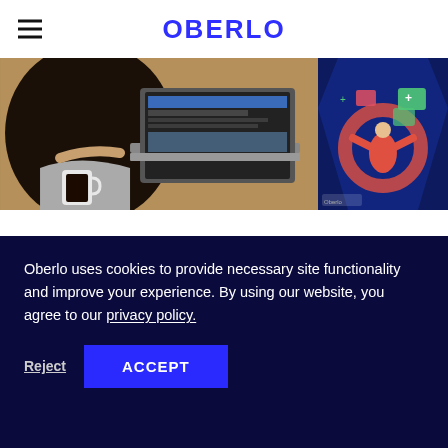OBERLO
[Figure (photo): Person with dark hair using a laptop and holding a coffee mug, viewed from behind]
[Figure (illustration): Oberlo promotional ebook cover illustration with person and app interface]
HOME / EBOOKS / THE ULTIMATE GUIDE TO BUILDING POWERFUL PRODUCT PAGES /
Oberlo uses cookies to provide necessary site functionality and improve your experience. By using our website, you agree to our privacy policy.
Reject
ACCEPT